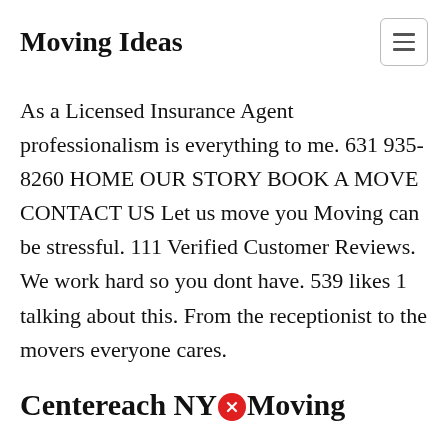Moving Ideas
As a Licensed Insurance Agent professionalism is everything to me. 631 935-8260 HOME OUR STORY BOOK A MOVE CONTACT US Let us move you Moving can be stressful. 111 Verified Customer Reviews. We work hard so you dont have. 539 likes 1 talking about this. From the receptionist to the movers everyone cares.
Centereach NY Moving